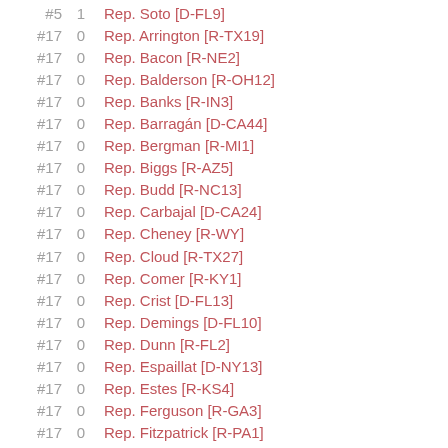#5  1  Rep. Soto [D-FL9]
#17  0  Rep. Arrington [R-TX19]
#17  0  Rep. Bacon [R-NE2]
#17  0  Rep. Balderson [R-OH12]
#17  0  Rep. Banks [R-IN3]
#17  0  Rep. Barragán [D-CA44]
#17  0  Rep. Bergman [R-MI1]
#17  0  Rep. Biggs [R-AZ5]
#17  0  Rep. Budd [R-NC13]
#17  0  Rep. Carbajal [D-CA24]
#17  0  Rep. Cheney [R-WY]
#17  0  Rep. Cloud [R-TX27]
#17  0  Rep. Comer [R-KY1]
#17  0  Rep. Crist [D-FL13]
#17  0  Rep. Demings [D-FL10]
#17  0  Rep. Dunn [R-FL2]
#17  0  Rep. Espaillat [D-NY13]
#17  0  Rep. Estes [R-KS4]
#17  0  Rep. Ferguson [R-GA3]
#17  0  Rep. Fitzpatrick [R-PA1]